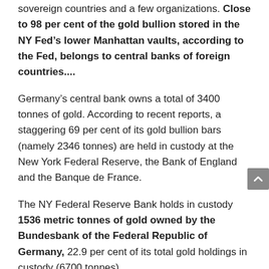sovereign countries and a few organizations. Close to 98 per cent of the gold bullion stored in the NY Fed’s lower Manhattan vaults, according to the Fed, belongs to central banks of foreign countries....
Germany’s central bank owns a total of 3400 tonnes of gold. According to recent reports, a staggering 69 per cent of its gold bullion bars (namely 2346 tonnes) are held in custody at the New York Federal Reserve, the Bank of England and the Banque de France.
The NY Federal Reserve Bank holds in custody 1536 metric tonnes of gold owned by the Bundesbank of the Federal Republic of Germany, 22.9 per cent of its total gold holdings in custody (6700 tonnes).
The Bundesbank has announced that it will repatriate “all of its 374 metric tonnes stored at the Banque de